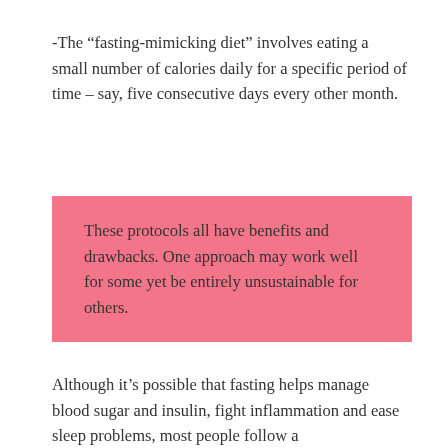-The “fasting-mimicking diet” involves eating a small number of calories daily for a specific period of time – say, five consecutive days every other month.
These protocols all have benefits and drawbacks. One approach may work well for some yet be entirely unsustainable for others.
Although it’s possible that fasting helps manage blood sugar and insulin, fight inflammation and ease sleep problems, most people follow a